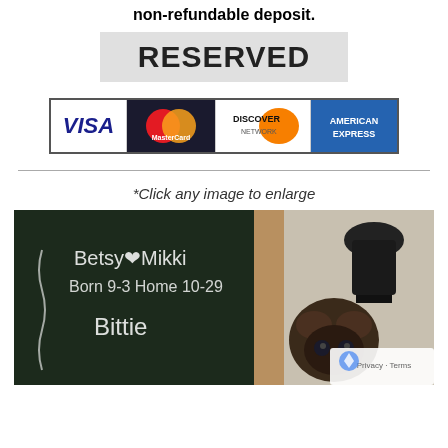non-refundable deposit.
[Figure (other): RESERVED label box with grey background]
[Figure (other): Payment method logos: VISA, MasterCard, Discover Network, American Express]
*Click any image to enlarge
[Figure (photo): Photo of a small dark-colored puppy in front of a chalkboard that reads 'Betsy Mikki Born 9-3 Home 10-29 Bittie']